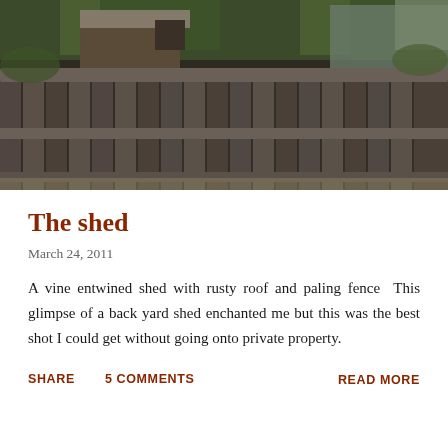[Figure (photo): A wooden paling fence with vertical dark grey/brown planks and horizontal rails. Behind the fence are dilapidated wooden shed structures with rusty corrugated metal roof, and green vines/trees growing over them. The scene depicts a weathered back yard shed and fence.]
The shed
March 24, 2011
A vine entwined shed with rusty roof and paling fence  This glimpse of a back yard shed enchanted me but this was the best shot I could get without going onto private property.
SHARE   5 COMMENTS   READ MORE